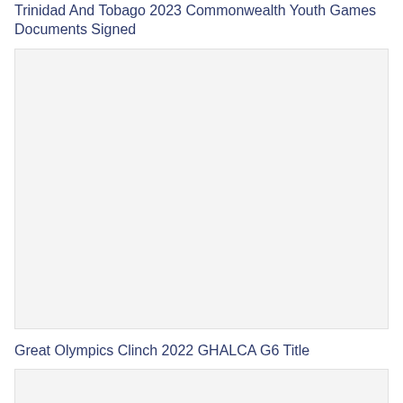Trinidad And Tobago 2023 Commonwealth Youth Games Documents Signed
[Figure (photo): Large image placeholder with light grey background, relating to Trinidad And Tobago 2023 Commonwealth Youth Games Documents Signed]
Great Olympics Clinch 2022 GHALCA G6 Title
[Figure (photo): Partial image placeholder with light grey background, relating to Great Olympics Clinch 2022 GHALCA G6 Title]